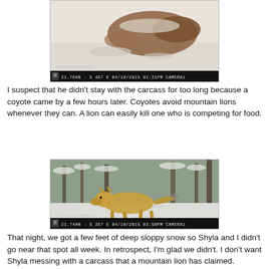[Figure (photo): Trail camera photo showing an animal (mountain lion or deer carcass) lying in snow, with timestamp 04/10/2015 01:21PM CAMERA1, 21.76HN - S 457 E]
I suspect that he didn't stay with the carcass for too long because a coyote came by a few hours later. Coyotes avoid mountain lions whenever they can. A lion can easily kill one who is competing for food.
[Figure (photo): Trail camera photo showing a coyote trotting through snowy forest, with timestamp 04/10/2015 03:50PM CAMERA1, 21.74HN - S 357 E]
That night, we got a few feet of deep sloppy snow so Shyla and I didn't go near that spot all week. In retrospect, I'm glad we didn't. I don't want Shyla messing with a carcass that a mountain lion has claimed.